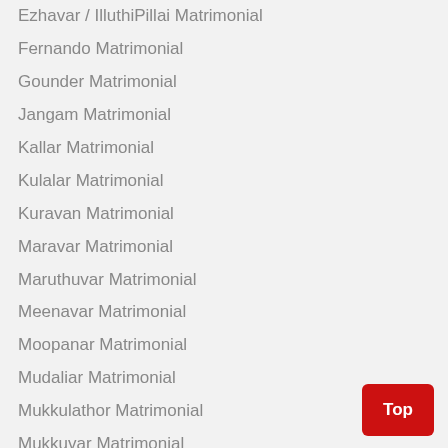Ezhavar / IlluthiPillai Matrimonial
Fernando Matrimonial
Gounder Matrimonial
Jangam Matrimonial
Kallar Matrimonial
Kulalar Matrimonial
Kuravan Matrimonial
Maravar Matrimonial
Maruthuvar Matrimonial
Meenavar Matrimonial
Moopanar Matrimonial
Mudaliar Matrimonial
Mukkulathor Matrimonial
Mukkuvar Matrimonial
Mutharaiyar Matrimonial
Muthuraja Matrimonial
Muthuraja Ambalakarar Matrimonial
Nadar Matrimonial
Naicker Matrimonial
Naidu Matrimonial